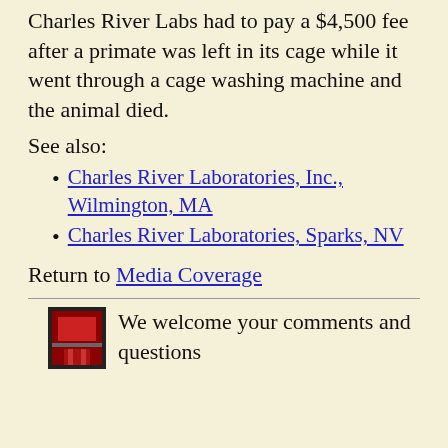Charles River Labs had to pay a $4,500 fee after a primate was left in its cage while it went through a cage washing machine and the animal died.
See also:
Charles River Laboratories, Inc., Wilmington, MA
Charles River Laboratories, Sparks, NV
Return to Media Coverage
We welcome your comments and questions